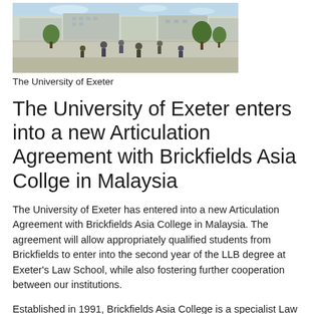[Figure (photo): Outdoor campus photo of the University of Exeter showing students walking in an open plaza area with modern buildings and trees in the background]
The University of Exeter
The University of Exeter enters into a new Articulation Agreement with Brickfields Asia Collge in Malaysia
The University of Exeter has entered into a new Articulation Agreement with Brickfields Asia College in Malaysia. The agreement will allow appropriately qualified students from Brickfields to enter into the second year of the LLB degree at Exeter's Law School, while also fostering further cooperation between our institutions.
Established in 1991, Brickfields Asia College is a specialist Law and Business School, with bases in Kuala Lumpur and Petaling Jaya. Brickfields is currently regarded as the premier law school in Malaysia and is